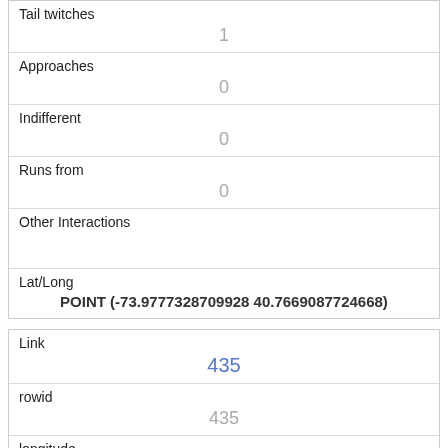| Tail twitches | 1 |
| Approaches | 0 |
| Indifferent | 0 |
| Runs from | 0 |
| Other Interactions |  |
| Lat/Long | POINT (-73.9777328709928 40.7669087724668) |
| Link | 435 |
| rowid | 435 |
| longitude | -73.9702963056917 |
| latitude | 40.7697928730791 |